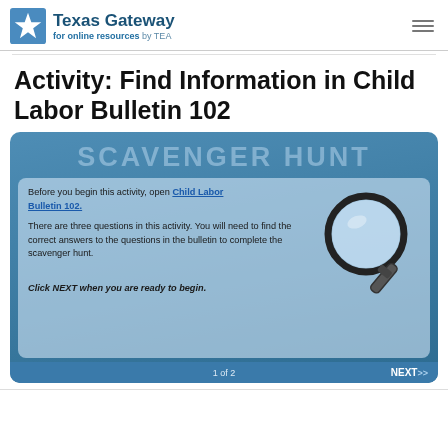Texas Gateway for online resources by TEA
Activity: Find Information in Child Labor Bulletin 102
[Figure (screenshot): Scavenger Hunt activity box with magnifying glass illustration. Text: 'Before you begin this activity, open Child Labor Bulletin 102. There are three questions in this activity. You will need to find the correct answers to the questions in the bulletin to complete the scavenger hunt. Click NEXT when you are ready to begin.' Footer shows '1 of 2' and 'NEXT>>']